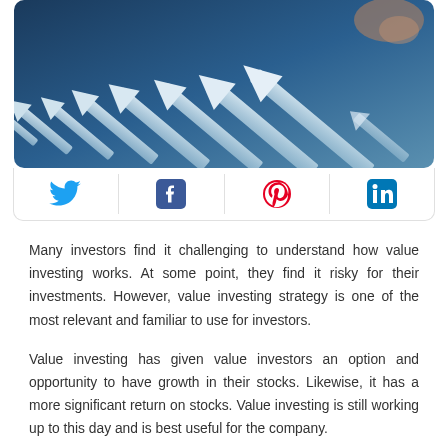[Figure (photo): A professional photo showing upward-pointing arrows representing growth in investments, with a hand pointing at the top arrow, on a dark blue background.]
[Figure (infographic): A social media sharing bar with Twitter, Facebook, Pinterest, and LinkedIn icons separated by vertical dividers.]
Many investors find it challenging to understand how value investing works. At some point, they find it risky for their investments. However, value investing strategy is one of the most relevant and familiar to use for investors.
Value investing has given value investors an option and opportunity to have growth in their stocks. Likewise, it has a more significant return on stocks. Value investing is still working up to this day and is best useful for the company.